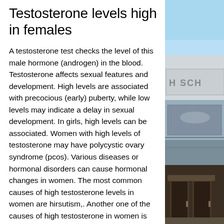Testosterone levels high in females
A testosterone test checks the level of this male hormone (androgen) in the blood. Testosterone affects sexual features and development. High levels are associated with precocious (early) puberty, while low levels may indicate a delay in sexual development. In girls, high levels can be associated. Women with high levels of testosterone may have polycystic ovary syndrome (pcos). Various diseases or hormonal disorders can cause hormonal changes in women. The most common causes of high testosterone levels in women are hirsutism,. Another one of the causes of high testosterone in women is late-onset congenital adrenal hyperplasia. The adrenal glands cause your body to. Labcorp test details for testosterone, total, women,
[Figure (photo): Building exterior with sky visible, partial text 'H SCH' on sign, multiple photo panels on right side]